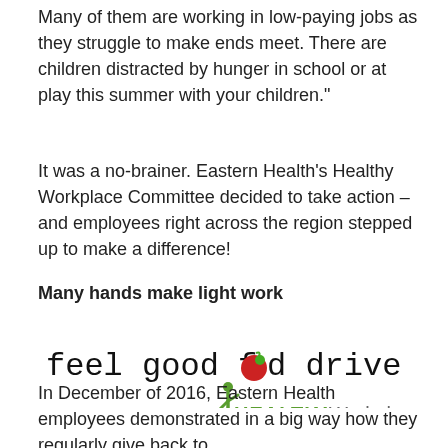Many of them are working in low-paying jobs as they struggle to make ends meet. There are children distracted by hunger in school or at play this summer with your children."
It was a no-brainer. Eastern Health's Healthy Workplace Committee decided to take action – and employees right across the region stepped up to make a difference!
Many hands make light work
[Figure (logo): Feel Good Food Drive logo with Healthy Workplace logo below it. The food drive text is in monospace font with an apple replacing the 'o' in 'food'. Below is a green figure checkmark with HEALTHY Workplace text.]
In December of 2016, Eastern Health employees demonstrated in a big way how they regularly give back to